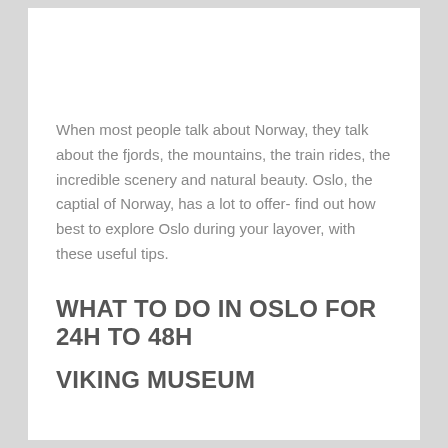When most people talk about Norway, they talk about the fjords, the mountains, the train rides, the incredible scenery and natural beauty. Oslo, the captial of Norway, has a lot to offer- find out how best to explore Oslo during your layover, with these useful tips.
WHAT TO DO IN OSLO FOR 24H TO 48H
VIKING MUSEUM